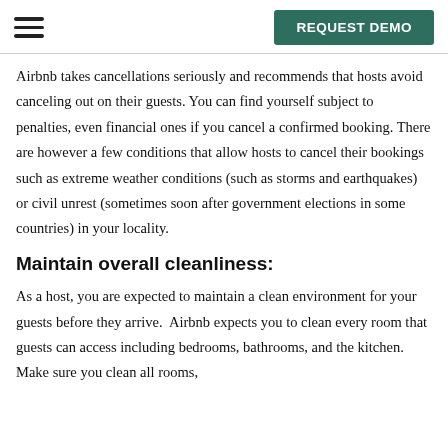REQUEST DEMO
Airbnb takes cancellations seriously and recommends that hosts avoid canceling out on their guests. You can find yourself subject to penalties, even financial ones if you cancel a confirmed booking. There are however a few conditions that allow hosts to cancel their bookings such as extreme weather conditions (such as storms and earthquakes) or civil unrest (sometimes soon after government elections in some countries) in your locality.
Maintain overall cleanliness:
As a host, you are expected to maintain a clean environment for your guests before they arrive.  Airbnb expects you to clean every room that guests can access including bedrooms, bathrooms, and the kitchen. Make sure you clean all rooms,